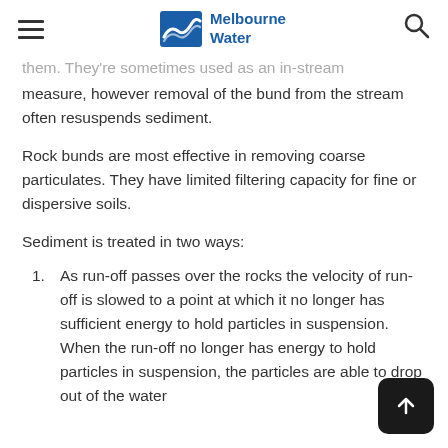Melbourne Water
...them. They're sometimes used as an in-stream measure, however removal of the bund from the stream often resuspends sediment.
Rock bunds are most effective in removing coarse particulates. They have limited filtering capacity for fine or dispersive soils.
Sediment is treated in two ways:
As run-off passes over the rocks the velocity of run-off is slowed to a point at which it no longer has sufficient energy to hold particles in suspension. When the run-off no longer has energy to hold particles in suspension, the particles are able to drop out of the water